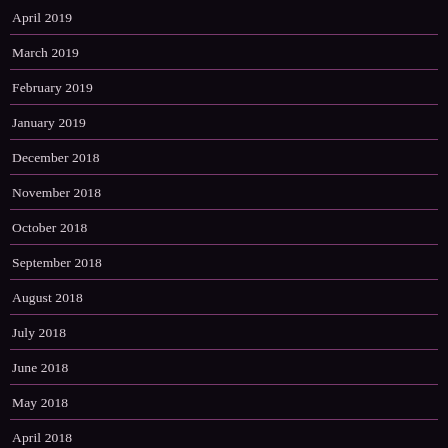April 2019
March 2019
February 2019
January 2019
December 2018
November 2018
October 2018
September 2018
August 2018
July 2018
June 2018
May 2018
April 2018